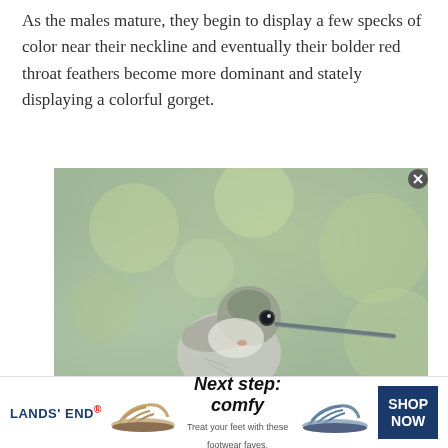As the males mature, they begin to display a few specks of color near their neckline and eventually their bolder red throat feathers become more dominant and stately displaying a colorful gorget.
[Figure (photo): Close-up photograph of a young hummingbird with a long beak, gray-white feathers, and a small dark eye, set against a soft green blurred background.]
[Figure (other): Lands' End advertisement banner: sandal shoes, headline 'Next step: comfy', subtext 'Treat your feet with these footwear faves.', blue 'SHOP NOW' button.]